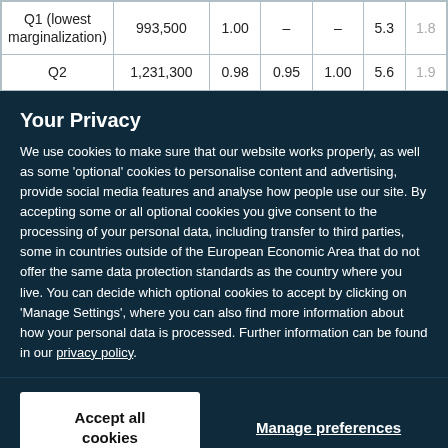|  |  |  |  |  |  |  |
| --- | --- | --- | --- | --- | --- | --- |
| Q1 (lowest marginalization) | 993,500 | 1.00 | – | – | 5.3 | 1.8 |
| Q2 | 1,231,300 | 0.98 | 0.95 | 1.00 | 5.6 | 1.9 |
Your Privacy
We use cookies to make sure that our website works properly, as well as some 'optional' cookies to personalise content and advertising, provide social media features and analyse how people use our site. By accepting some or all optional cookies you give consent to the processing of your personal data, including transfer to third parties, some in countries outside of the European Economic Area that do not offer the same data protection standards as the country where you live. You can decide which optional cookies to accept by clicking on 'Manage Settings', where you can also find more information about how your personal data is processed. Further information can be found in our privacy policy.
Accept all cookies
Manage preferences